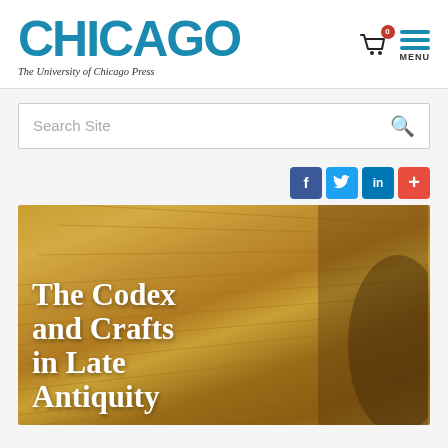[Figure (logo): University of Chicago Press logo with bold teal CHICAGO text and subtitle]
The University of Chicago Press
[Figure (screenshot): Search Site input bar with magnifying glass icon]
[Figure (infographic): Social sharing buttons: Facebook (f), Twitter, LinkedIn (in), Plus (+)]
[Figure (photo): Book cover image: The Codex and Crafts in Late Antiquity — close-up photo of aged book pages/papyrus with large white serif title text overlaid]